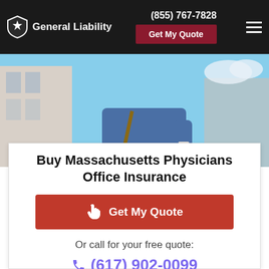General Liability | (855) 767-7828 | Get My Quote
[Figure (photo): A young man smiling, holding a coffee cup, wearing a blue jacket, standing outdoors with a building and blue sky in the background.]
Buy Massachusetts Physicians Office Insurance
Get My Quote
Or call for your free quote:
(617) 902-0099